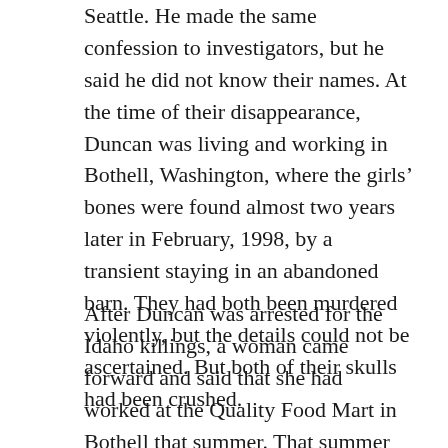Seattle. He made the same confession to investigators, but he said he did not know their names. At the time of their disappearance, Duncan was living and working in Bothell, Washington, where the girls’ bones were found almost two years later in February, 1998, by a transient staying in an abandoned barn. They had both been murdered violently, but the details could not be ascertained. But both of their skulls had been crushed.
After Duncan was arrested for the Idaho killings, a woman came forward and said that she had worked at the Quality Food Mart in Bothell that summer. That summer she repeatedly saw a man she now says was Duncan